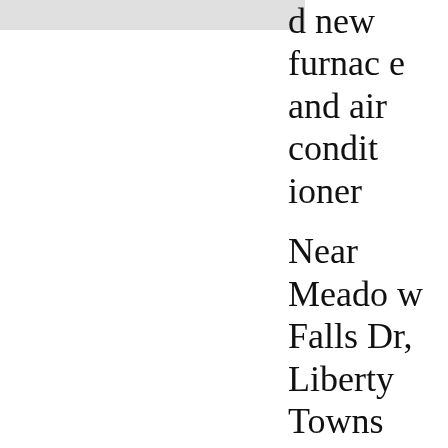[Figure (photo): Gray/white image area at top left of page (partial photo, cropped)]
d new furnace and air conditioner
Near Meadow Falls Dr, Liberty Township, OH